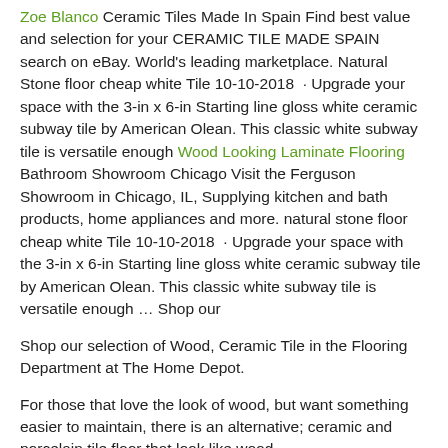Zoe Blanco Ceramic Tiles Made In Spain Find best value and selection for your CERAMIC TILE MADE SPAIN search on eBay. World's leading marketplace. Natural Stone floor cheap white Tile 10-10-2018 · Upgrade your space with the 3-in x 6-in Starting line gloss white ceramic subway tile by American Olean. This classic white subway tile is versatile enough Wood Looking Laminate Flooring Bathroom Showroom Chicago Visit the Ferguson Showroom in Chicago, IL, Supplying kitchen and bath products, home appliances and more. natural stone floor cheap white Tile 10-10-2018 · Upgrade your space with the 3-in x 6-in Starting line gloss white ceramic subway tile by American Olean. This classic white subway tile is versatile enough … Shop our
Shop our selection of Wood, Ceramic Tile in the Flooring Department at The Home Depot.
For those that love the look of wood, but want something easier to maintain, there is an alternative; ceramic and porcelain tile floor that look like wood.